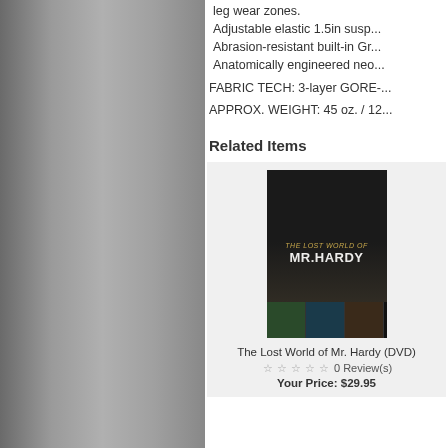leg wear zones.
Adjustable elastic 1.5in susp...
Abrasion-resistant built-in Gr...
Anatomically engineered neo...
FABRIC TECH: 3-layer GORE-...
APPROX. WEIGHT: 45 oz. / 12...
Related Items
[Figure (photo): DVD cover for 'The Lost World of Mr. Hardy' showing a fisherman silhouette in foggy landscape with film strip thumbnails at bottom]
The Lost World of Mr. Hardy (DVD)
0 Review(s)
Your Price: $29.95